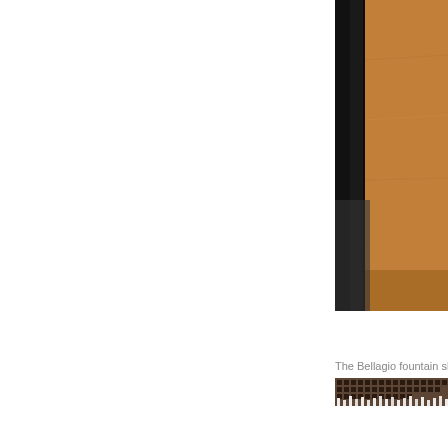[Figure (photo): Partial photo showing a dark interior scene on the left side and a warm brown/orange textured wall or surface on the right, with a dark curtain or divider visible on the left edge. The photo is cropped, showing only the right portion of the frame.]
The Bellagio fountain show wa
[Figure (photo): Photo of the Bellagio hotel fountain show in Las Vegas at night. The large Bellagio hotel building with its distinctive grid of windows is visible in the background. In the foreground, large water jets shoot upward in choreographed patterns, with the water catching light and appearing bright white against the darker building facade.]